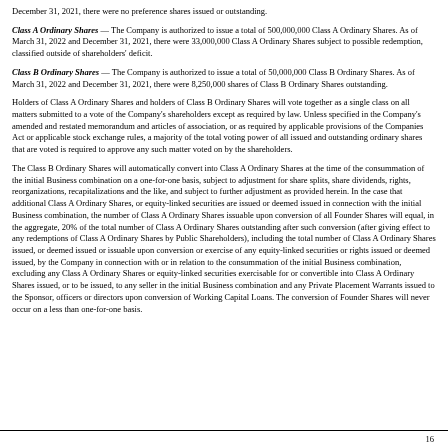December 31, 2021, there were no preference shares issued or outstanding.
Class A Ordinary Shares — The Company is authorized to issue a total of 500,000,000 Class A Ordinary Shares. As of March 31, 2022 and December 31, 2021, there were 33,000,000 Class A Ordinary Shares subject to possible redemption, classified outside of shareholders' deficit.
Class B Ordinary Shares — The Company is authorized to issue a total of 50,000,000 Class B Ordinary Shares. As of March 31, 2022 and December 31, 2021, there were 8,250,000 shares of Class B Ordinary Shares outstanding.
Holders of Class A Ordinary Shares and holders of Class B Ordinary Shares will vote together as a single class on all matters submitted to a vote of the Company's shareholders except as required by law. Unless specified in the Company's amended and restated memorandum and articles of association, or as required by applicable provisions of the Companies Act or applicable stock exchange rules, a majority of the total voting power of all issued and outstanding ordinary shares that are voted is required to approve any such matter voted on by the shareholders.
The Class B Ordinary Shares will automatically convert into Class A Ordinary Shares at the time of the consummation of the initial Business combination on a one-for-one basis, subject to adjustment for share splits, share dividends, rights, reorganizations, recapitalizations and the like, and subject to further adjustment as provided herein. In the case that additional Class A Ordinary Shares, or equity-linked securities are issued or deemed issued in connection with the initial Business combination, the number of Class A Ordinary Shares issuable upon conversion of all Founder Shares will equal, in the aggregate, 20% of the total number of Class A Ordinary Shares outstanding after such conversion (after giving effect to any redemptions of Class A Ordinary Shares by Public Shareholders), including the total number of Class A Ordinary Shares issued, or deemed issued or issuable upon conversion or exercise of any equity-linked securities or rights issued or deemed issued, by the Company in connection with or in relation to the consummation of the initial Business combination, excluding any Class A Ordinary Shares or equity-linked securities exercisable for or convertible into Class A Ordinary Shares issued, or to be issued, to any seller in the initial Business combination and any Private Placement Warrants issued to the Sponsor, officers or directors upon conversion of Working Capital Loans. The conversion of Founder Shares will never occur on a less than one-for-one basis.
16